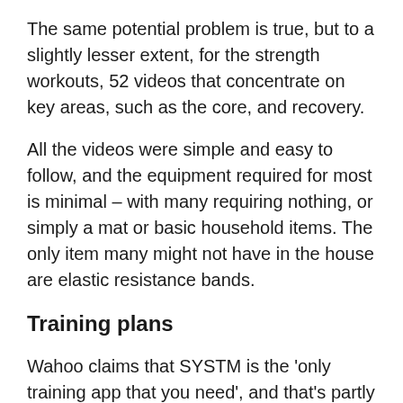The same potential problem is true, but to a slightly lesser extent, for the strength workouts, 52 videos that concentrate on key areas, such as the core, and recovery.
All the videos were simple and easy to follow, and the equipment required for most is minimal – with many requiring nothing, or simply a mat or basic household items. The only item many might not have in the house are elastic resistance bands.
Training plans
Wahoo claims that SYSTM is the 'only training app that you need', and that's partly down to its ability to create a training plan. It can create a plan for cycling, multi-sport or cross-training and within each of these areas you can specify what you are training for, be that an event or simply to improve fitness.